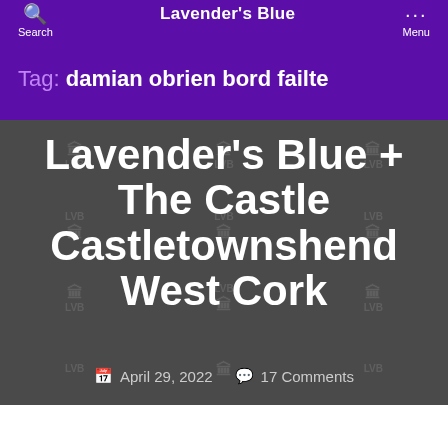Lavender's Blue
Tag: damian obrien bord failte
Lavender's Blue + The Castle Castletownshend West Cork
April 29, 2022   17 Comments